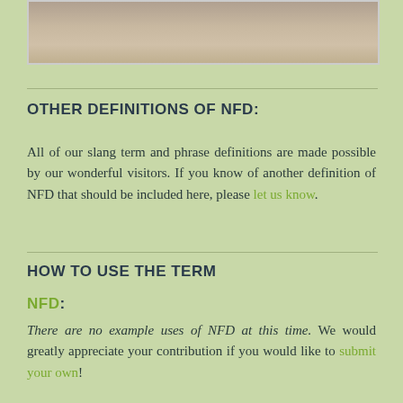[Figure (photo): Partial view of a sepia-toned photograph showing legs/feet of a person or animal, cropped at the top of the page]
OTHER DEFINITIONS OF NFD:
All of our slang term and phrase definitions are made possible by our wonderful visitors. If you know of another definition of NFD that should be included here, please let us know.
HOW TO USE THE TERM
NFD:
There are no example uses of NFD at this time. We would greatly appreciate your contribution if you would like to submit your own!